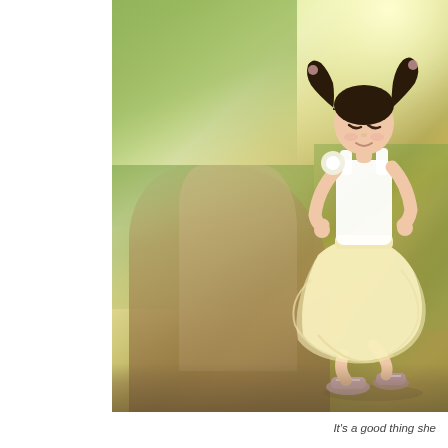[Figure (photo): A young Asian girl with pigtails, wearing a white sleeveless top and a flowing pale yellow tutu skirt with pink sneakers, walking/twirling on a dirt path in a sunny park with green grass in the background. The photo has a bright, dreamy quality with strong natural light from the upper right.]
It's a good thing she